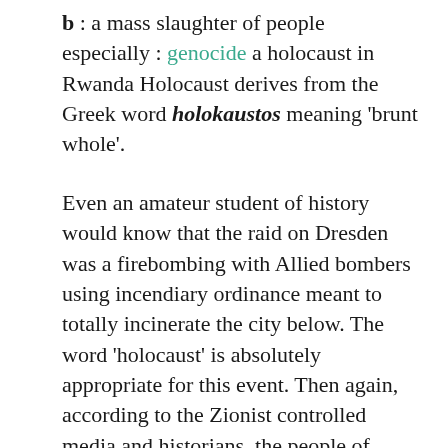b : a mass slaughter of people especially : genocide a holocaust in Rwanda Holocaust derives from the Greek word holokaustos meaning 'brunt whole'.
Even an amateur student of history would know that the raid on Dresden was a firebombing with Allied bombers using incendiary ordinance meant to totally incinerate the city below. The word 'holocaust' is absolutely appropriate for this event. Then again, according to the Zionist controlled media and historians, the people of Dresden are goyim, and are lower than the people that were exterminated at Auschwitz. You want to talk about racism and equality? Let's talk about the fact that Dresden doesn't get hardly any